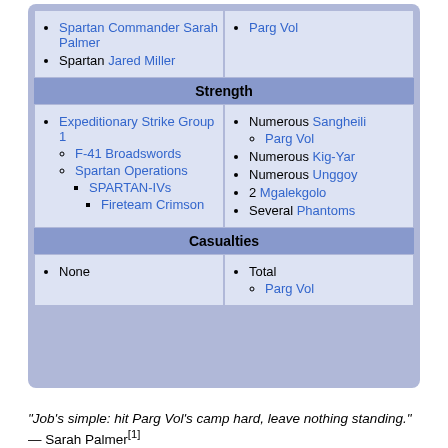| Commanders (UNSC) | Commanders (Covenant) |
| --- | --- |
| Spartan Commander Sarah Palmer
Spartan Jared Miller | Parg Vol |
| Strength |  |
| Expeditionary Strike Group 1
  F-41 Broadswords
  Spartan Operations
    SPARTAN-IVs
      Fireteam Crimson | Numerous Sangheili
  Parg Vol
Numerous Kig-Yar
Numerous Unggoy
2 Mgalekgolo
Several Phantoms |
| Casualties |  |
| None | Total
  Parg Vol |
"Job's simple: hit Parg Vol's camp hard, leave nothing standing."
— Sarah Palmer[1]